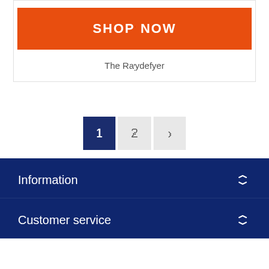[Figure (other): Orange SHOP NOW button]
The Raydefyer
1  2  >
Information
Customer service